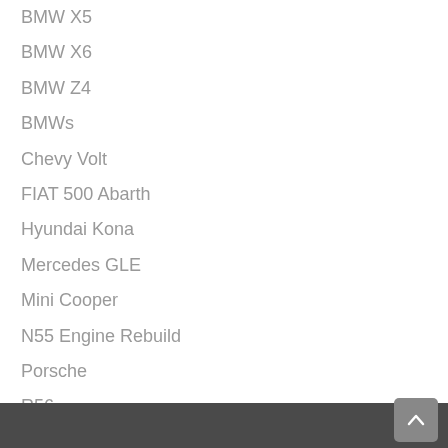BMW X5
BMW X6
BMW Z4
BMWs
Chevy Volt
FIAT 500 Abarth
Hyundai Kona
Mercedes GLE
Mini Cooper
N55 Engine Rebuild
Porsche
R56
Reviews
Scanners